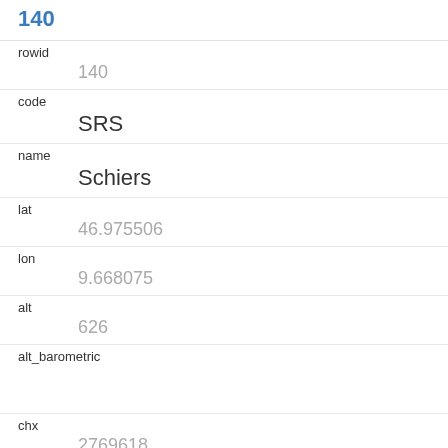140
| field | value |
| --- | --- |
| rowid | 140 |
| code | SRS |
| name | Schiers |
| lat | 46.975506 |
| lon | 9.668075 |
| alt | 626 |
| alt_barometric |  |
| chx | 2769618 |
| chy | 1205125 |
| station_type | Weather station |